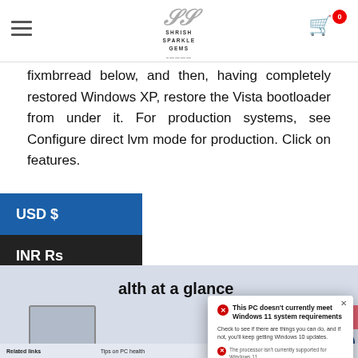Shirish Sparkle Gems — header with logo, menu icon, and cart icon
fixmbrread below, and then, having completely restored Windows XP, restore the Vista bootloader from under it. For production systems, see Configure direct lvm mode for production. Click on features.
USD $
INR Rs
[Figure (screenshot): Windows PC Health Check screenshot showing 'health at a glance' section with DESKTOP-HGO8P56 device info, and a dialog box: 'This PC doesn't currently meet Windows 11 system requirements'. Dialog has error icon, body text 'Check to see if there are things you can do, and if not, you'll keep getting Windows 10 updates.', error detail about processor not supported with link 'More about supported CPUs', processor details 'Intel(R) Pentium(R) CPU 44151 @ 1.50GHz', and two buttons: 'See all results' and 'Device specifications'. Also shows INR badge, plus button, chevron up button, Remember my preferences toggle, OneDrive folder syncing Manage button, and Related links bar.]